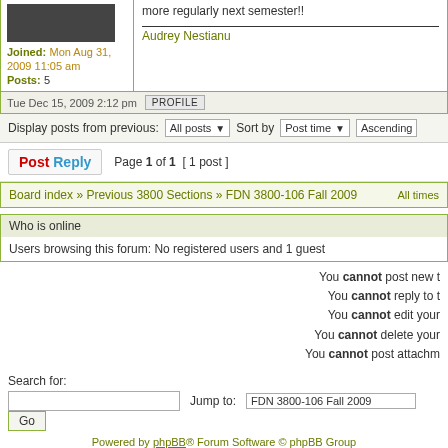more regularly next semester!!
Joined: Mon Aug 31, 2009 11:05 am
Posts: 5
Audrey Nestianu
Tue Dec 15, 2009 2:12 pm
PROFILE
Display posts from previous:  All posts  Sort by  Post time  Ascending
Post Reply  Page 1 of 1  [ 1 post ]
Board index » Previous 3800 Sections » FDN 3800-106 Fall 2009  All times...
Who is online
Users browsing this forum: No registered users and 1 guest
You cannot post new topics
You cannot reply to topics
You cannot edit your posts
You cannot delete your posts
You cannot post attachments
Search for:
Jump to:  FDN 3800-106 Fall 2009
Go
Powered by phpBB® Forum Software © phpBB Group
Designed by ST Software for PTF.